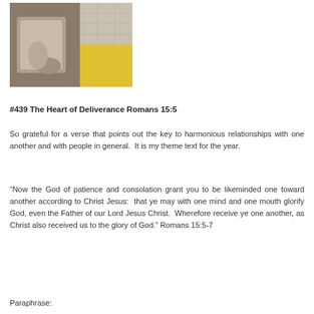[Figure (photo): A photograph showing a person wearing a light-colored garment, with a yellow/golden background visible.]
#439 The Heart of Deliverance Romans 15:5
So grateful for a verse that points out the key to harmonious relationships with one another and with people in general.  It is my theme text for the year.
“Now the God of patience and consolation grant you to be likeminded one toward another according to Christ Jesus:  that ye may with one mind and one mouth glorify God, even the Father of our Lord Jesus Christ.  Wherefore receive ye one another, as Christ also received us to the glory of God.” Romans 15:5-7
Paraphrase: